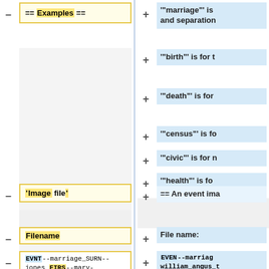–
== Examples ==
+
"'marriage'" is and separation
+
"'birth'" is for t
+
"'death'" is for
+
"'census'" is fo
+
"'civic'" is for n
+
"'health'" is fo
–
"'Image file'"
+
== An event ima
–
Filename
+
File name:
EVNT--marriage_SURN-- jones_FIRS--mary-jean_SURN-- williams_FIRS--matthew_DATE-
EVEN--marriag william_angus_t
+